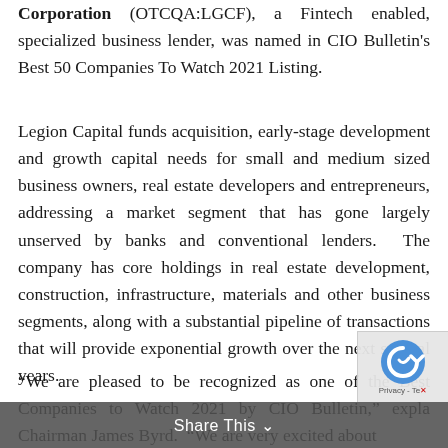Corporation (OTCQA:LGCF), a Fintech enabled, specialized business lender, was named in CIO Bulletin's Best 50 Companies To Watch 2021 Listing.
Legion Capital funds acquisition, early-stage development and growth capital needs for small and medium sized business owners, real estate developers and entrepreneurs, addressing a market segment that has gone largely unserved by banks and conventional lenders. The company has core holdings in real estate development, construction, infrastructure, materials and other business segments, along with a substantial pipeline of transactions that will provide exponential growth over the next several years.
“We are pleased to be recognized as one of the Best Companies to Watch 2021 by CIO Bulletin,” explained Chairman James Byrd. “We are very excited about